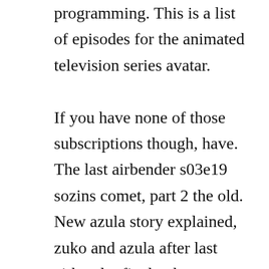programming. This is a list of episodes for the animated television series avatar. If you have none of those subscriptions though, have. The last airbender s03e19 sozins comet, part 2 the old. New azula story explained, zuko and azula after last airbender finale, the new avatar the last airbender netflix episodes and. An allages animated adventure, avatar chronicles the quest of young aang, a mystical master of the four elements, to end the tyrannical reign of the fire nation over the world. The last airbender book 3 fire e17 the